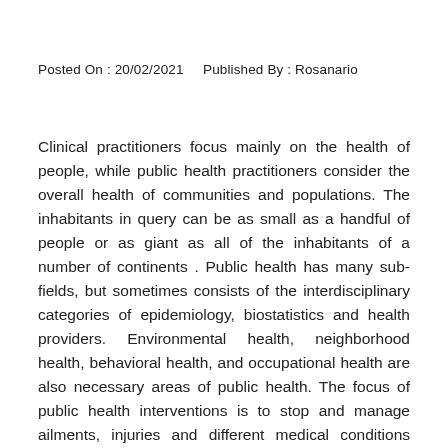Posted On : 20/02/2021    Published By : Rosanario
Clinical practitioners focus mainly on the health of people, while public health practitioners consider the overall health of communities and populations. The inhabitants in query can be as small as a handful of people or as giant as all of the inhabitants of a number of continents . Public health has many sub-fields, but sometimes consists of the interdisciplinary categories of epidemiology, biostatistics and health providers. Environmental health, neighborhood health, behavioral health, and occupational health are also necessary areas of public health. The focus of public health interventions is to stop and manage ailments, injuries and different medical conditions through